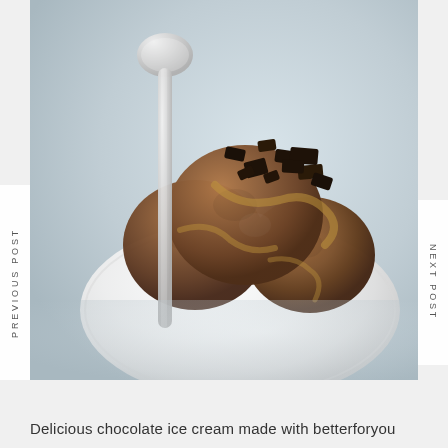[Figure (photo): Overhead photo of a white bowl containing chocolate ice cream scoops topped with chocolate chunks and caramel drizzle, with a silver spoon, on a light blue-grey background]
PREVIOUS POST
NEXT POST
Delicious chocolate ice cream made with betterforyou